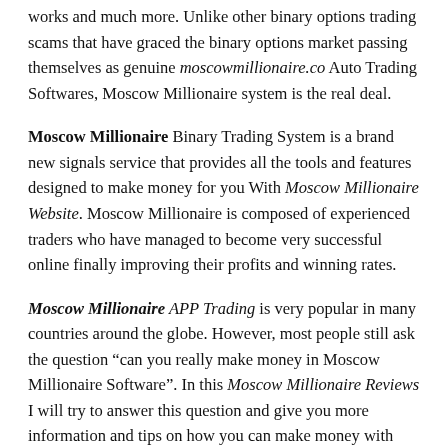works and much more. Unlike other binary options trading scams that have graced the binary options market passing themselves as genuine moscowmillionaire.co Auto Trading Softwares, Moscow Millionaire system is the real deal.
Moscow Millionaire Binary Trading System is a brand new signals service that provides all the tools and features designed to make money for you With Moscow Millionaire Website. Moscow Millionaire is composed of experienced traders who have managed to become very successful online finally improving their profits and winning rates.
Moscow Millionaire APP Trading is very popular in many countries around the globe. However, most people still ask the question “can you really make money in Moscow Millionaire Software”. In this Moscow Millionaire Reviews I will try to answer this question and give you more information and tips on how you can make money with Moscow Millionaire Auto Trading